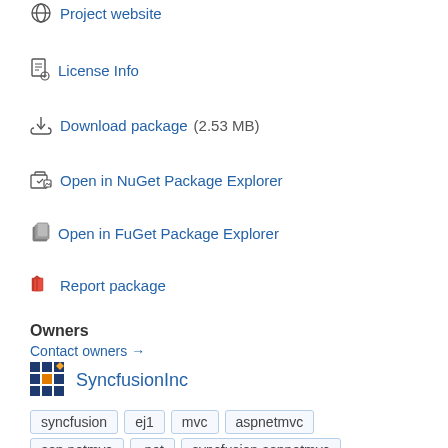Project website
License Info
Download package (2.53 MB)
Open in NuGet Package Explorer
Open in FuGet Package Explorer
Report package
Owners
Contact owners →
SyncfusionInc
syncfusion
ej1
mvc
aspnetmvc
asp.netmvc
.net
syncfusion.aspnetmvc